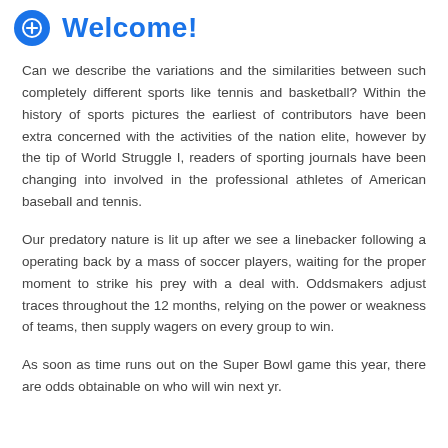Welcome!
Can we describe the variations and the similarities between such completely different sports like tennis and basketball? Within the history of sports pictures the earliest of contributors have been extra concerned with the activities of the nation elite, however by the tip of World Struggle I, readers of sporting journals have been changing into involved in the professional athletes of American baseball and tennis.
Our predatory nature is lit up after we see a linebacker following a operating back by a mass of soccer players, waiting for the proper moment to strike his prey with a deal with. Oddsmakers adjust traces throughout the 12 months, relying on the power or weakness of teams, then supply wagers on every group to win.
As soon as time runs out on the Super Bowl game this year, there are odds obtainable on who will win next yr.